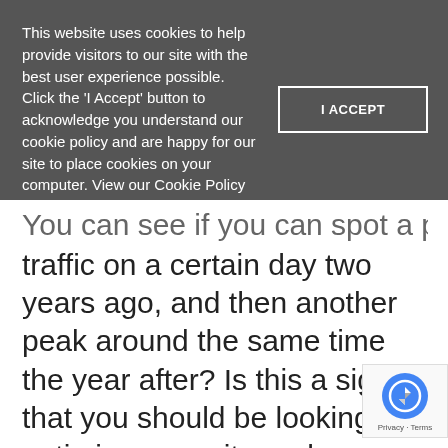This website uses cookies to help provide visitors to our site with the best user experience possible. Click the 'I Accept' button to acknowledge you understand our cookie policy and are happy for our site to place cookies on your computer. View our Cookie Policy
I ACCEPT
traffic on a certain day two years ago, and then another peak around the same time the year after? Is this a sign that you should be looking to optimise your site and increase your marketing budget around this time as visitors are more likely to come to your site? Not always! You might have run promotional s that explain the increase in traffic or were featured on a website that increased your